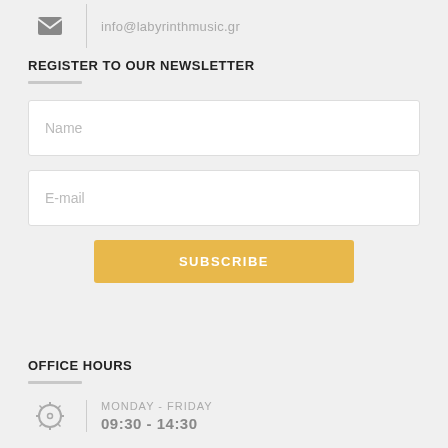info@labyrinthmusic.gr
REGISTER TO OUR NEWSLETTER
Name
E-mail
SUBSCRIBE
OFFICE HOURS
MONDAY - FRIDAY
09:30 - 14:30